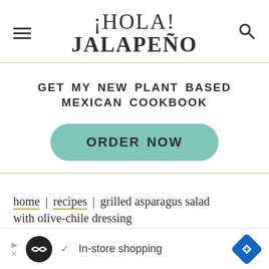¡HOLA! JALAPEÑO
GET MY NEW PLANT BASED MEXICAN COOKBOOK
ORDER NOW
home | recipes | grilled asparagus salad with olive-chile dressing
[Figure (screenshot): Advertisement bar with logo, checkmark, 'In-store shopping' text, and navigation icon]